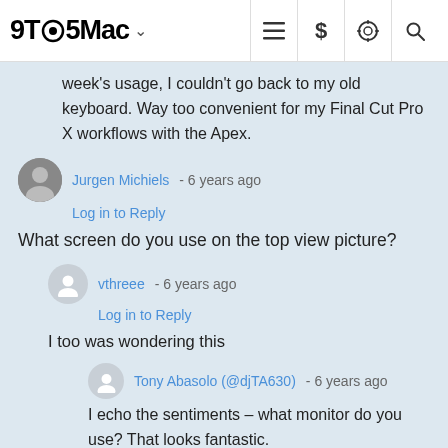9TO5Mac
week's usage, I couldn't go back to my old keyboard. Way too convenient for my Final Cut Pro X workflows with the Apex.
Jurgen Michiels - 6 years ago
Log in to Reply
What screen do you use on the top view picture?
vthreee - 6 years ago
Log in to Reply
I too was wondering this
Tony Abasolo (@djTA630) - 6 years ago
I echo the sentiments – what monitor do you use? That looks fantastic.
Great review, I think I should've purchased